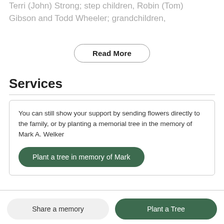Terri (John) Strong; step children, Robin (Tom) Gibson and Todd Wheeler; grandchildren,
Read More
Services
You can still show your support by sending flowers directly to the family, or by planting a memorial tree in the memory of Mark A. Welker
Plant a tree in memory of Mark
Share a memory
Plant a Tree